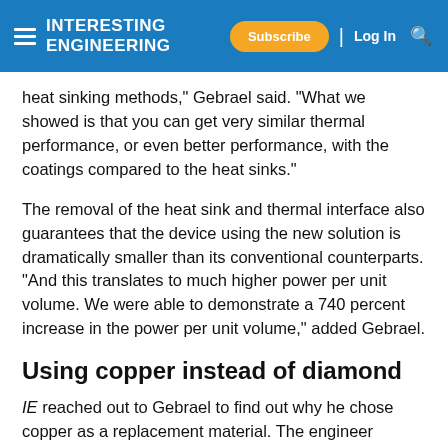INTERESTING ENGINEERING — Subscribe | Log In
heat sinking methods," Gebrael said. "What we showed is that you can get very similar thermal performance, or even better performance, with the coatings compared to the heat sinks."
The removal of the heat sink and thermal interface also guarantees that the device using the new solution is dramatically smaller than its conventional counterparts. "And this translates to much higher power per unit volume. We were able to demonstrate a 740 percent increase in the power per unit volume," added Gebrael.
Using copper instead of diamond
IE reached out to Gebrael to find out why he chose copper as a replacement material. The engineer